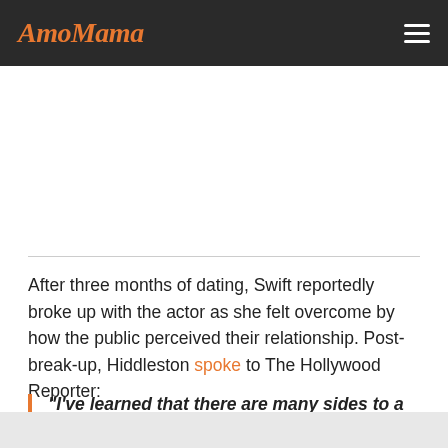AmoMama
After three months of dating, Swift reportedly broke up with the actor as she felt overcome by how the public perceived their relationship. Post-break-up, Hiddleston spoke to The Hollywood Reporter:
"I've learned that there are many sides to a story and that sometimes there are a lot of